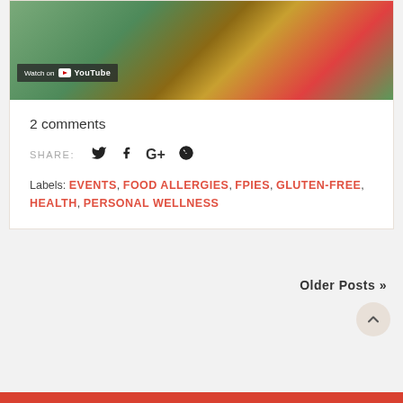[Figure (screenshot): YouTube video thumbnail showing an 'Enjoy Life' branded event display with colorful signs, white picket fence, and a 'Watch on YouTube' overlay button]
2 comments
SHARE:  [Twitter] [Facebook] [Google+] [Pinterest]
Labels: EVENTS, FOOD ALLERGIES, FPIES, GLUTEN-FREE, HEALTH, PERSONAL WELLNESS
Older Posts »
[Figure (other): Back to top arrow button (chevron up icon in a circular button)]